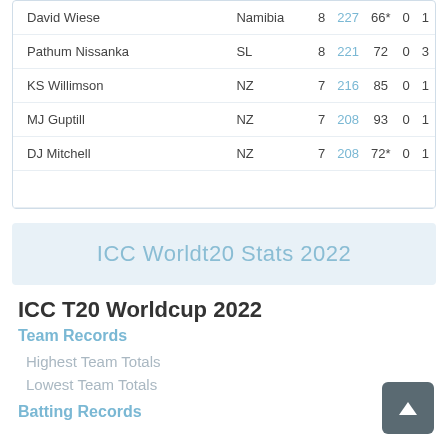| Player | Country | M | Runs | HS | 100s | 50s |
| --- | --- | --- | --- | --- | --- | --- |
| David Wiese | Namibia | 8 | 227 | 66* | 0 | 1 |
| Pathum Nissanka | SL | 8 | 221 | 72 | 0 | 3 |
| KS Willimson | NZ | 7 | 216 | 85 | 0 | 1 |
| MJ Guptill | NZ | 7 | 208 | 93 | 0 | 1 |
| DJ Mitchell | NZ | 7 | 208 | 72* | 0 | 1 |
ICC Worldt20 Stats 2022
ICC T20 Worldcup 2022
Team Records
Highest Team Totals
Lowest Team Totals
Batting Records